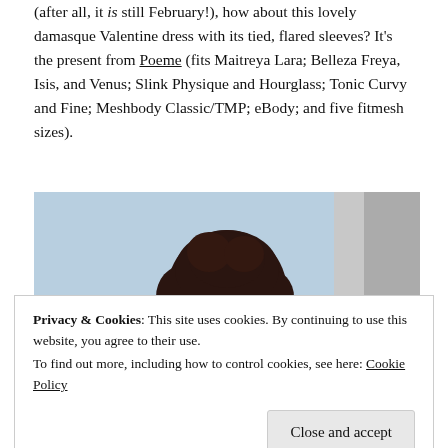(after all, it is still February!), how about this lovely damasque Valentine dress with its tied, flared sleeves? It's the present from Poeme (fits Maitreya Lara; Belleza Freya, Isis, and Venus; Slink Physique and Hourglass; Tonic Curvy and Fine; Meshbody Classic/TMP; eBody; and five fitmesh sizes).
[Figure (photo): A virtual avatar woman with dark curly updo hair, wearing what appears to be a red Valentine dress, shown from roughly the shoulders up against a light blue background. A grey/white column is visible to the right.]
Privacy & Cookies: This site uses cookies. By continuing to use this website, you agree to their use.
To find out more, including how to control cookies, see here: Cookie Policy